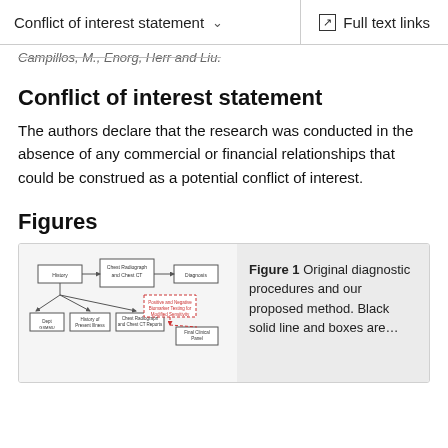Conflict of interest statement   Full text links
Campillos, M., Enorg, Herr and Liu.
Conflict of interest statement
The authors declare that the research was conducted in the absence of any commercial or financial relationships that could be construed as a potential conflict of interest.
Figures
[Figure (flowchart): A flowchart showing original diagnostic procedures and our proposed method. Boxes connected by black solid lines and red dashed boxes/lines indicate different workflow paths.]
Figure 1 Original diagnostic procedures and our proposed method. Black solid line and boxes are…